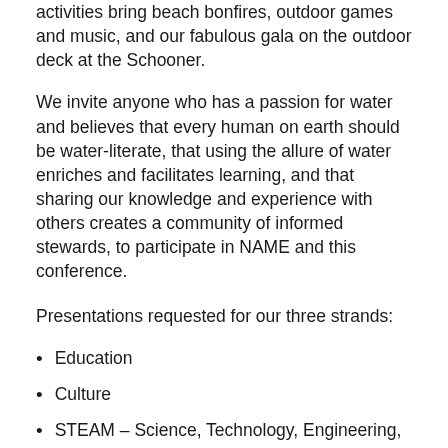activities bring beach bonfires, outdoor games and music, and our fabulous gala on the outdoor deck at the Schooner.
We invite anyone who has a passion for water and believes that every human on earth should be water-literate, that using the allure of water enriches and facilitates learning, and that sharing our knowledge and experience with others creates a community of informed stewards, to participate in NAME and this conference.
Presentations requested for our three strands:
Education
Culture
STEAM – Science, Technology, Engineering,